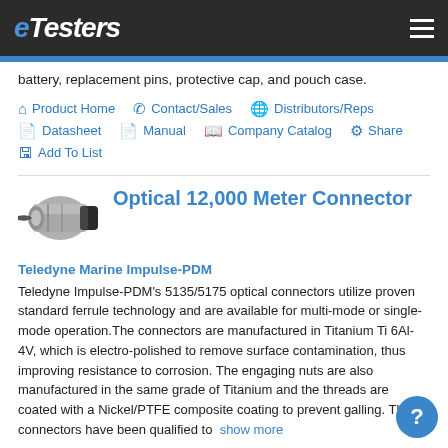eTesters
battery, replacement pins, protective cap, and pouch case.
Product Home
Contact/Sales
Distributors/Reps
Datasheet
Manual
Company Catalog
Share
Add To List
[Figure (photo): Photo of an optical underwater connector, cylindrical metal body with black end cap]
Optical 12,000 Meter Connector
Teledyne Marine Impulse-PDM
Teledyne Impulse-PDM's 5135/5175 optical connectors utilize proven standard ferrule technology and are available for multi-mode or single-mode operation.The connectors are manufactured in Titanium Ti 6Al-4V, which is electro-polished to remove surface contamination, thus improving resistance to corrosion. The engaging nuts are also manufactured in the same grade of Titanium and the threads are coated with a Nickel/PTFE composite coating to prevent galling. The connectors have been qualified to... show more